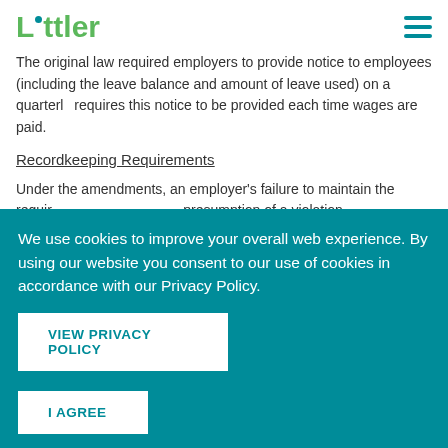Littler
The original law required employers to provide notice to employees (including the leave balance and amount of leave used) on a quarterly basis. The amendment requires this notice to be provided each time wages are paid.
Recordkeeping Requirements
Under the amendments, an employer's failure to maintain the required records creates a presumption of a violation.
We use cookies to improve your overall web experience. By using our website you consent to our use of cookies in accordance with our Privacy Policy.
VIEW PRIVACY POLICY
I AGREE